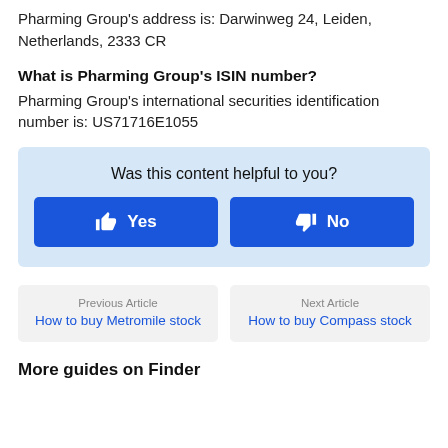Pharming Group's address is: Darwinweg 24, Leiden, Netherlands, 2333 CR
What is Pharming Group's ISIN number?
Pharming Group's international securities identification number is: US71716E1055
Was this content helpful to you?
Yes
No
Previous Article
How to buy Metromile stock
Next Article
How to buy Compass stock
More guides on Finder